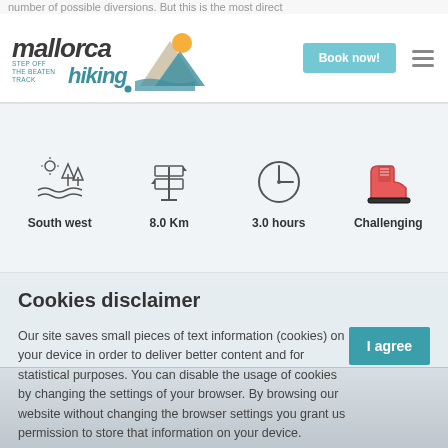number of possible diversions. But this is the most direct
[Figure (logo): Mallorca Hiking logo — 'MALLORCA HIKING, STEP OFF THE BEATEN TRACK' with mountain graphic]
[Figure (infographic): Four icons row: South west (landscape icon), 8.0 Km (signpost icon), 3.0 hours (clock icon), Challenging (hiking boot icon)]
Cookies disclaimer
Our site saves small pieces of text information (cookies) on your device in order to deliver better content and for statistical purposes. You can disable the usage of cookies by changing the settings of your browser. By browsing our website without changing the browser settings you grant us permission to store that information on your device.